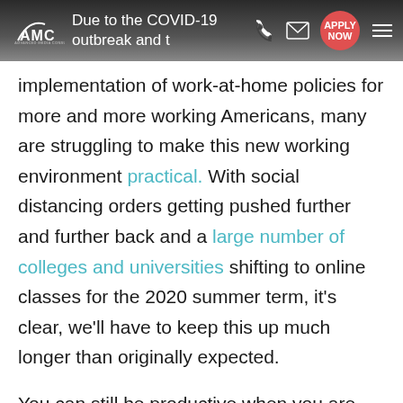Due to the COVID-19 outbreak and the implementation of work-at-home policies for more and more working Americans, many are struggling to make this new working environment practical. With social distancing orders getting pushed further and further back and a large number of colleges and universities shifting to online classes for the 2020 summer term, it's clear, we'll have to keep this up much longer than originally expected.
Due to the COVID-19 outbreak and the implementation of work-at-home policies for more and more working Americans, many are struggling to make this new working environment practical. With social distancing orders getting pushed further and further back and a large number of colleges and universities shifting to online classes for the 2020 summer term, it's clear, we'll have to keep this up much longer than originally expected.
You can still be productive when you are remotely doing your business or schoolwork. Here are four simple yet effective work-at-home tips that will help you get the job done even if you are only 30